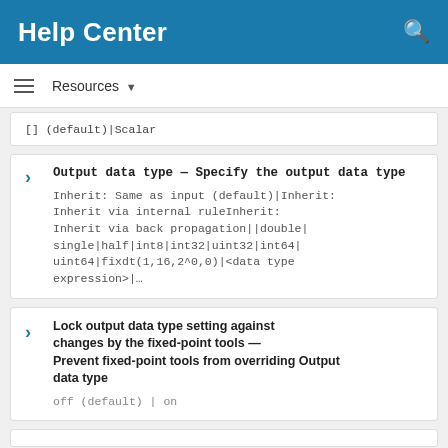Help Center
Resources ▾
[] (default) | Scalar
Output data type — Specify the output data type
Inherit: Same as input (default)|Inherit: Inherit via internal ruleInherit: Inherit via back propagation||double|single|half|int8|int32|uint32|int64|uint64|fixdt(1,16,2^0,0)|<data type expression>|…
Lock output data type setting against changes by the fixed-point tools — Prevent fixed-point tools from overriding Output data type
off (default) | on